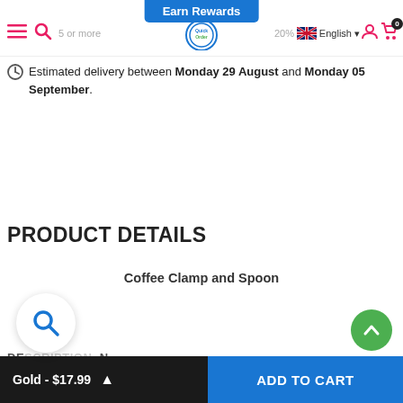Earn Rewards | 5 or more | 20% off | English
Estimated delivery between Monday 29 August and Monday 05 September.
PRODUCT DETAILS
Coffee Clamp and Spoon
DESCRIPTION
Gold - $17.99 | ADD TO CART